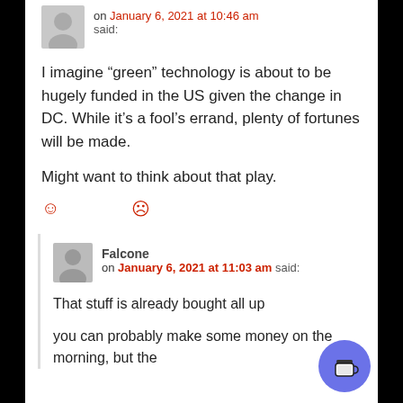on January 6, 2021 at 10:46 am said:
I imagine “green” technology is about to be hugely funded in the US given the change in DC. While it’s a fool’s errand, plenty of fortunes will be made.
Might want to think about that play.
Falcone on January 6, 2021 at 11:03 am said:
That stuff is already bought all up
you can probably make some money on the morning, but the